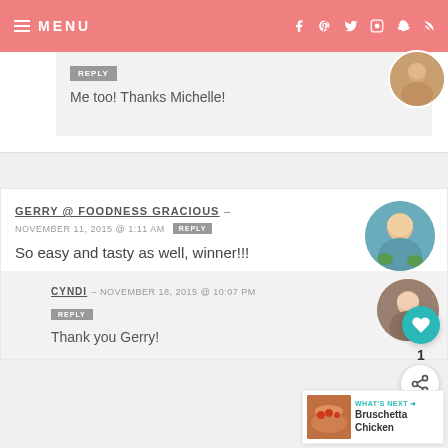MENU
Me too! Thanks Michelle!
GERRY @ FOODNESS GRACIOUS – NOVEMBER 11, 2015 @ 1:11 AM REPLY
So easy and tasty as well, winner!!!
CYNDI – NOVEMBER 18, 2015 @ 10:07 PM REPLY
Thank you Gerry!
WHAT'S NEXT → Bruschetta Chicken